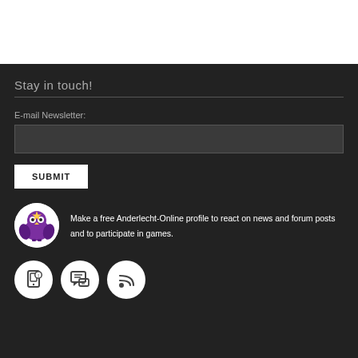Stay in touch!
E-mail Newsletter:
SUBMIT
Make a free Anderlecht-Online profile to react on news and forum posts and to participate in games.
[Figure (illustration): Three social/contact icons in white circles: mobile notification, chat/forum, RSS feed]